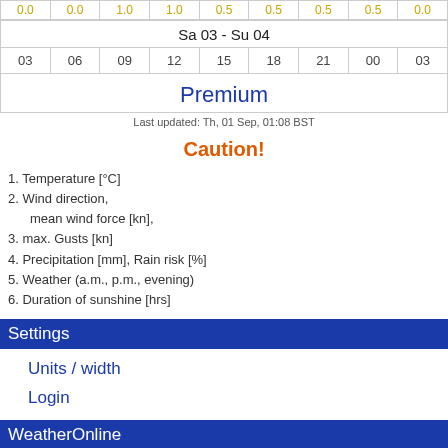| 0.0 | 0.0 | 1.0 | 1.0 | 0.5 | 0.5 | 0.5 | 0.0 |
| --- | --- | --- | --- | --- | --- | --- | --- |
| Sa 03 - Su 04 |
| 03 | 06 | 09 | 12 | 15 | 18 | 21 | 00 | 03 |
Premium
Last updated: Th, 01 Sep, 01:08 BST
Caution!
1. Temperature [°C]
2. Wind direction, mean wind force [kn],
3. max. Gusts [kn]
4. Precipitation [mm], Rain risk [%]
5. Weather (a.m., p.m., evening)
6. Duration of sunshine [hrs]
Settings
Units / width
Login
WeatherOnline
Home
Premium
Comments
Terms of use
www.weatheronline.co.uk